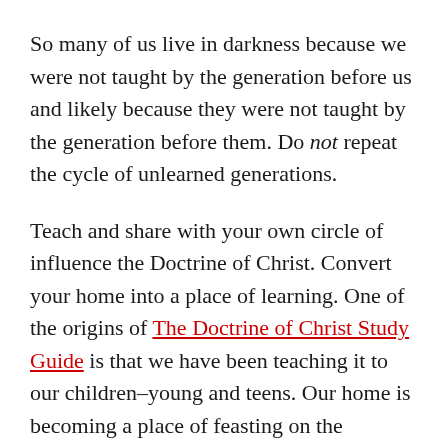So many of us live in darkness because we were not taught by the generation before us and likely because they were not taught by the generation before them. Do not repeat the cycle of unlearned generations.
Teach and share with your own circle of influence the Doctrine of Christ. Convert your home into a place of learning. One of the origins of The Doctrine of Christ Study Guide is that we have been teaching it to our children–young and teens. Our home is becoming a place of feasting on the scriptures, personal revelation, and